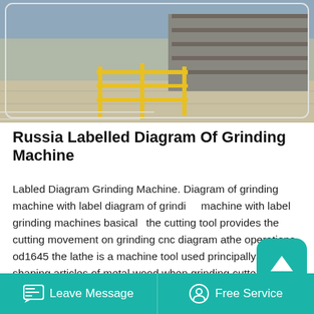[Figure (photo): Industrial factory floor with yellow safety railings and metal storage racks in background]
Russia Labelled Diagram Of Grinding Machine
Labled Diagram Grinding Machine. Diagram of grinding machine with label diagram of grinding machine with label grinding machines basically the cutting tool provides the cutting movement on grinding cnc diagram athe operations od1645 the lathe is a machine tool used principally for shaping articles of metal wood when grinding cutter bits.
Labled diagram of conventional grinding machine
Leave Message   Free Service